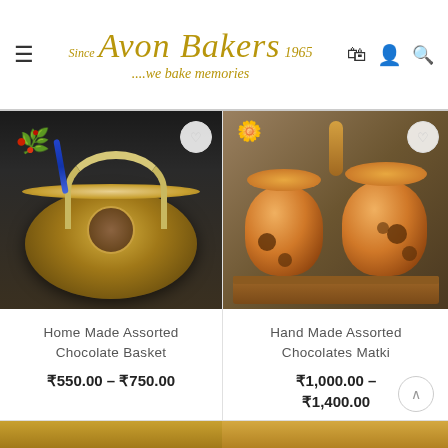Since 1965 Avon Bakers ...we bake memories
[Figure (photo): Wicker basket filled with gold-wrapped assorted chocolates, decorated with red berries and blue feather]
Home Made Assorted Chocolate Basket
₹550.00 – ₹750.00
[Figure (photo): Two clay matki (pot) style containers with lids on a wooden tray, hand-made assorted chocolates packaging]
Hand Made Assorted Chocolates Matki
₹1,000.00 – ₹1,400.00